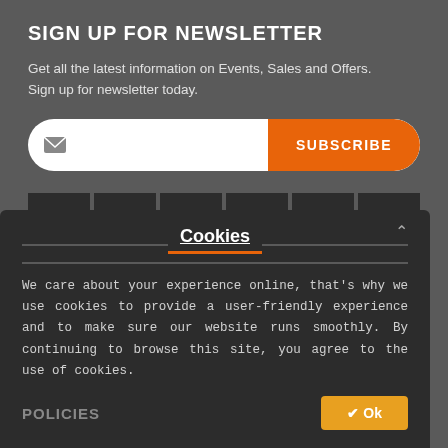SIGN UP FOR NEWSLETTER
Get all the latest information on Events, Sales and Offers. Sign up for newsletter today.
[Figure (infographic): Email subscription bar with envelope icon on white pill-shaped input and orange SUBSCRIBE button on right]
[Figure (infographic): Social media icon row: Facebook, Pinterest, LinkedIn, Twitter, Instagram, YouTube — white icons on dark square backgrounds]
FABANZA
About Us
Cookies
We care about your experience online, that's why we use cookies to provide a user-friendly experience and to make sure our website runs smoothly. By continuing to browse this site, you agree to the use of cookies.
POLICIES
✔ Ok